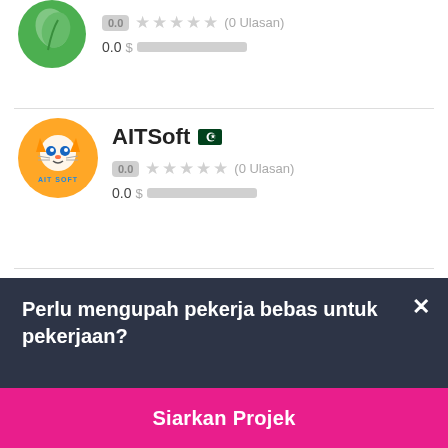[Figure (logo): Green circular logo (partial, cropped at top) for an unnamed company]
0.0 ★★★★★ (0 Ulasan)
0.0 $ ██████████
[Figure (logo): AITSoft orange circular logo with robot/cat mascot and 'AIT SOFT' label]
AITSoft 🇵🇰
0.0 ★★★★★ (0 Ulasan)
0.0 $ ██████████
Perlu mengupah pekerja bebas untuk pekerjaan?
Siarkan Projek